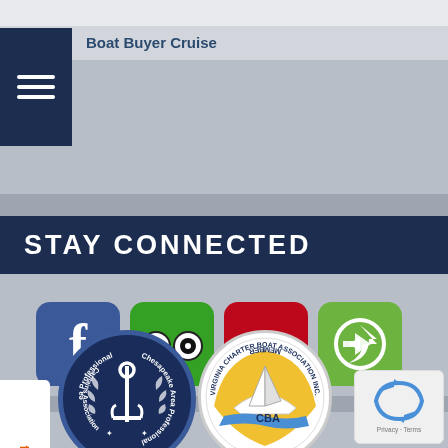Boat Buyer Cruise
STAY CONNECTED
[Figure (logo): Social media icons row: Facebook, TripAdvisor, Pinterest, Share/Google+]
757-876-8654
[Figure (logo): Chesapeake Area Professional Captains Association circular badge logo]
[Figure (logo): Virginia Charter Boat Association Inc. Member circular badge logo]
[Figure (logo): reCAPTCHA privacy badge]